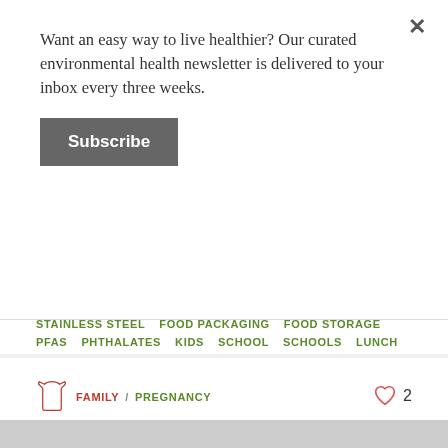Want an easy way to live healthier? Our curated environmental health newsletter is delivered to your inbox every three weeks.
Subscribe
STAINLESS STEEL
FOOD PACKAGING
FOOD STORAGE
PFAS
PHTHALATES
KIDS
SCHOOL
SCHOOLS
LUNCH
FAMILY / PREGNANCY
The 3 Easiest Things You Can Do for a Non-Toxic Pregnancy
Some no brainer, healthier swaps for you and baby